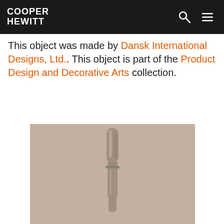COOPER HEWITT
This object was made by Dansk International Designs, Ltd.. This object is part of the Product Design and Decorative Arts collection.
[Figure (photo): A silver butter knife or spreader photographed vertically against a warm beige/tan background. The knife has a rounded blade top and a decorative handle.]